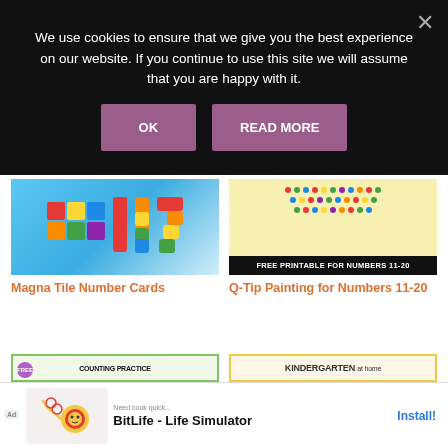We use cookies to ensure that we give you the best experience on our website. If you continue to use this site we will assume that you are happy with it.
OK
READ MORE
[Figure (photo): Magna Tile Number Cards with colorful block numbers]
Magna Tile Number Cards
[Figure (photo): Q-Tip Painting for Numbers 11-20, free printable on yellow background]
Q-Tip Painting for Numbers 11-20
[Figure (photo): Counting Practice for numbers 11-20 worksheet with FREE badge on green dotted border]
[Figure (photo): Kindergarten at home worksheet pack on yellow chevron border]
[Figure (screenshot): Ad: BitLife - Life Simulator app advertisement with Install button]